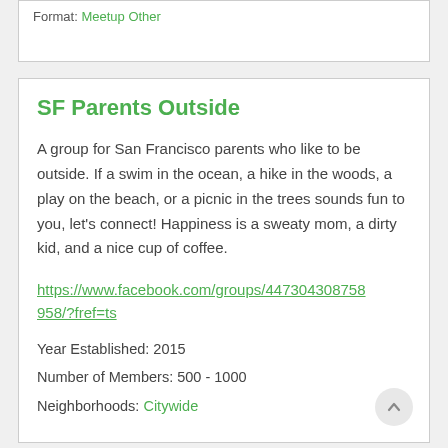Format: Meetup Other
SF Parents Outside
A group for San Francisco parents who like to be outside. If a swim in the ocean, a hike in the woods, a play on the beach, or a picnic in the trees sounds fun to you, let's connect! Happiness is a sweaty mom, a dirty kid, and a nice cup of coffee.
https://www.facebook.com/groups/447304308758958/?fref=ts
Year Established: 2015
Number of Members: 500 - 1000
Neighborhoods: Citywide